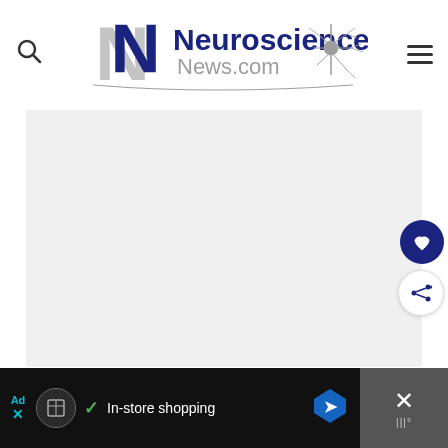[Figure (logo): Neuroscience News.com logo with two overlapping N letters in blue/gray and a neuron illustration]
[Figure (screenshot): Large light gray content area placeholder for article image or content]
[Figure (infographic): Bottom advertisement banner showing in-store shopping ad with dark background, circular icon, checkmark, text 'In-store shopping', map direction icon, and close button on right]